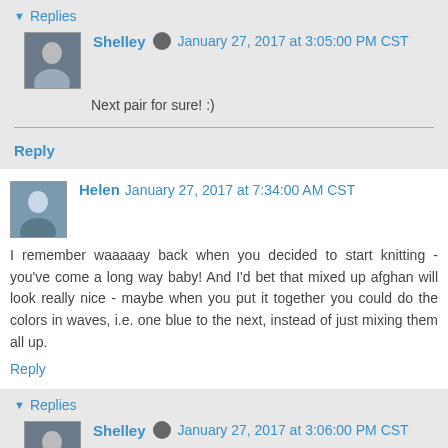▼ Replies
Shelley  January 27, 2017 at 3:05:00 PM CST
Next pair for sure! :)
Reply
Helen  January 27, 2017 at 7:34:00 AM CST
I remember waaaaay back when you decided to start knitting - you've come a long way baby! And I'd bet that mixed up afghan will look really nice - maybe when you put it together you could do the colors in waves, i.e. one blue to the next, instead of just mixing them all up.
Reply
▼ Replies
Shelley  January 27, 2017 at 3:06:00 PM CST